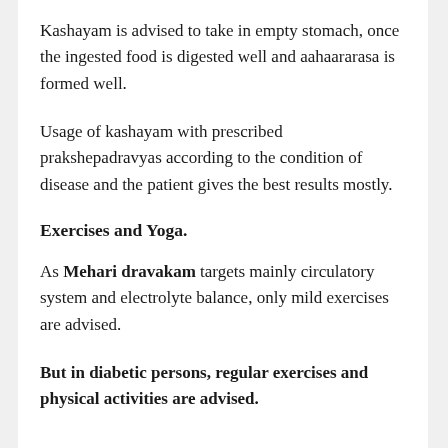Kashayam is advised to take in empty stomach, once the ingested food is digested well and aahaararasa is formed well.
Usage of kashayam with prescribed prakshepadravyas according to the condition of disease and the patient gives the best results mostly.
Exercises and Yoga.
As Mehari dravakam targets mainly circulatory system and electrolyte balance, only mild exercises are advised.
But in diabetic persons, regular exercises and physical activities are advised.